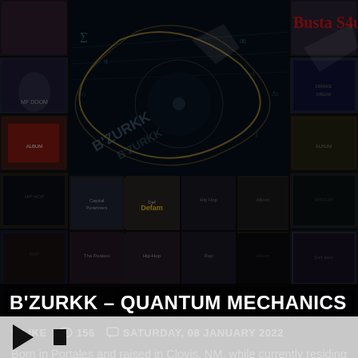[Figure (illustration): Background collage of hip-hop album covers in a dark grid layout, with a featured album art for B'zurkk Quantum Mechanics in the center top — dark blue/teal with mathematical equations and turntable imagery. Text 'B'ZURKK' and 'QUANTUM MECHANICS' overlaid on the album art. Multiple rows of album covers visible in background.]
B'ZURKK – QUANTUM MECHANICS
❤ LIKE  👁 156  💬 SATURDAY, 08 JANUARY 2022
Born in Portales and raised in Clovis, NM, while currently residing in Englewood, CO, B'zurkk once again sets the bar sky high for what lyric oriented alternative hip-hop could sound like, on his latest single, "Quantum Mechanics". The song showcases